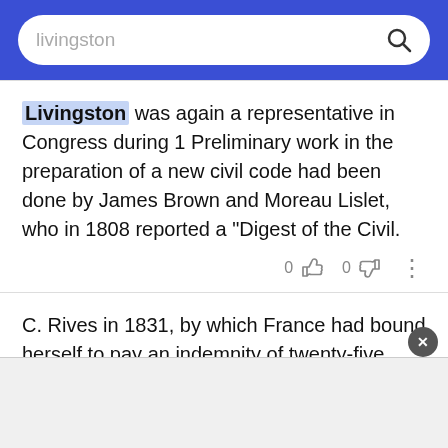livingston [search bar]
Livingston was again a representative in Congress during 1 Preliminary work in the preparation of a new civil code had been done by James Brown and Moreau Lislet, who in 1808 reported a "Digest of the Civil.
C. Rives in 1831, by which France had bound herself to pay an indemnity of twenty-five millions of francs for French spoliations of American shipping chiefly under the Berlin and Milan decrees, and the United States in turn agreed to pay to